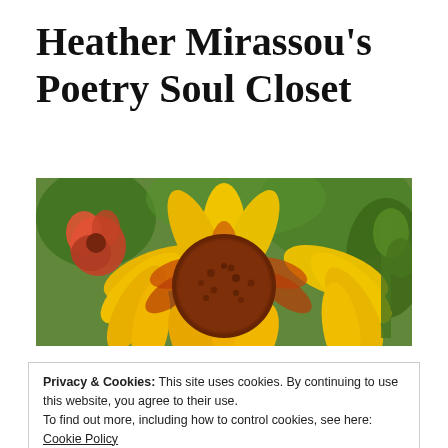Heather Mirassou's Poetry Soul Closet
[Figure (photo): Close-up photograph of a yellow and red flower (blanket flower / gaillardia) with a dark red center, against a blurred green background with red flowers in the left background.]
Privacy & Cookies: This site uses cookies. By continuing to use this website, you agree to their use.
To find out more, including how to control cookies, see here:
Cookie Policy
Close and accept